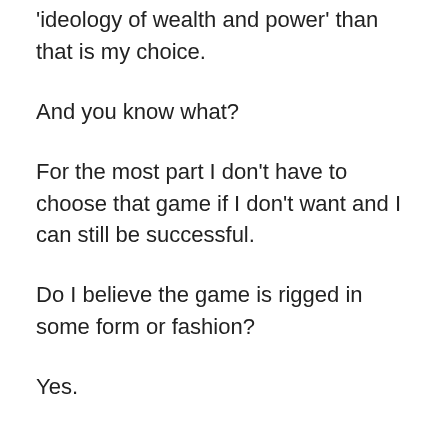'ideology of wealth and power' than that is my choice.
And you know what?
For the most part I don't have to choose that game if I don't want and I can still be successful.
Do I believe the game is rigged in some form or fashion?
Yes.